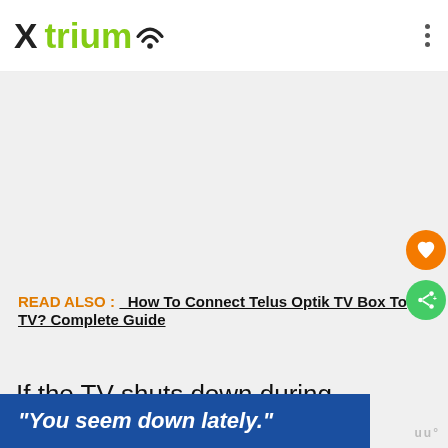Xtrium
[Figure (other): Advertisement placeholder area (gray background)]
READ ALSO : How To Connect Telus Optik TV Box To TV? Complete Guide
If the TV shuts down during the re...a will b...
[Figure (other): Blue banner overlay with italic quote: "You seem down lately."]